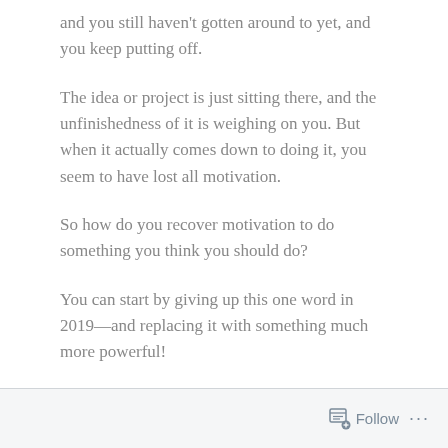and you still haven't gotten around to yet, and you keep putting off.
The idea or project is just sitting there, and the unfinishedness of it is weighing on you. But when it actually comes down to doing it, you seem to have lost all motivation.
So how do you recover motivation to do something you think you should do?
You can start by giving up this one word in 2019—and replacing it with something much more powerful!
Say goodbye to the S-word
Follow ...